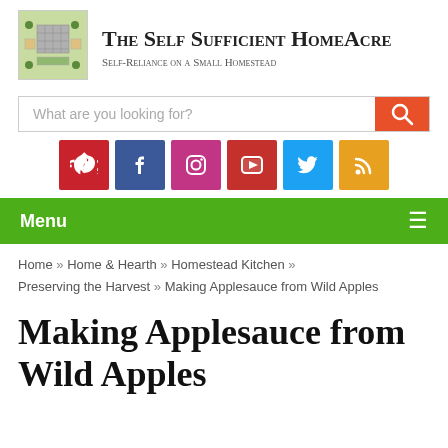[Figure (logo): The Self Sufficient HomeAcre logo — a small illustrated aerial view of a homestead property with green fields and building grid]
The Self Sufficient HomeAcre
Self-Reliance on a Small Homestead
[Figure (screenshot): Search bar with placeholder text 'What are you looking for?' and an orange search button with magnifying glass icon]
[Figure (infographic): Row of six social media icon buttons: Pinterest (red), Facebook (dark blue), Instagram (pink/purple), YouTube (red), Twitter (light blue), RSS (orange)]
Menu
Home » Home & Hearth » Homestead Kitchen » Preserving the Harvest » Making Applesauce from Wild Apples
Making Applesauce from Wild Apples